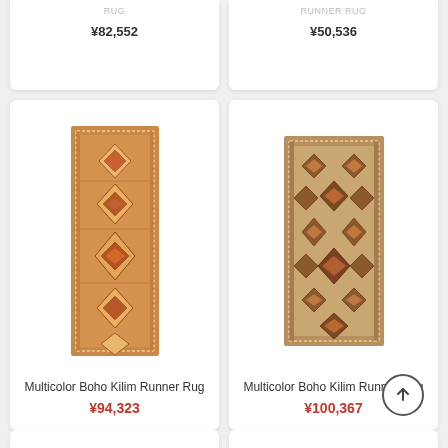Rug | Runner Rug
¥82,552
¥50,536
[Figure (photo): Multicolor Boho Kilim Runner Rug - narrow vertical runner with geometric diamond patterns in warm orange, red, and cream tones with dotted border]
Multicolor Boho Kilim Runner Rug
¥94,323
[Figure (photo): Multicolor Boho Kilim Runner Rug - narrow vertical runner with repeating diamond geometric patterns in tan, brown, and dark tones with dotted border]
Multicolor Boho Kilim Runner Rug
¥100,367